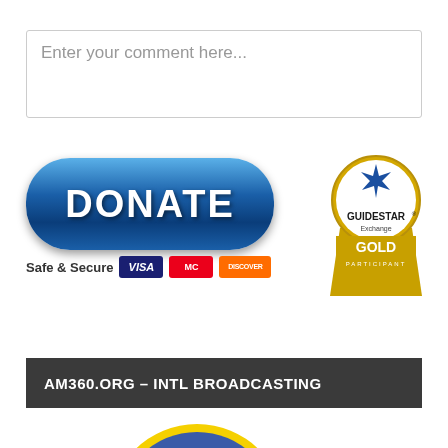Enter your comment here...
[Figure (infographic): Donate button with blue gradient pill shape, 'Safe & Secure' text with Visa, MasterCard, Discover logos, and GuideStar Exchange Gold Participant badge]
AM360.ORG – INTL BROADCASTING
[Figure (logo): American Muslim360 circular logo with blue top half and dark red bottom half, yellow outer ring, text 'AMERICAN' and 'MUSLIM360®']